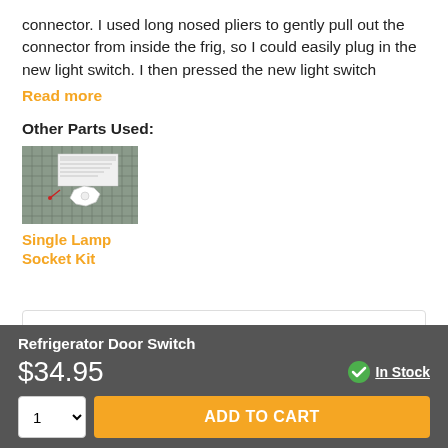connector. I used long nosed pliers to gently pull out the connector from inside the frig, so I could easily plug in the new light switch. I then pressed the new light switch
Read more
Other Parts Used:
[Figure (photo): Product photo of Single Lamp Socket Kit on grid background]
Single Lamp Socket Kit
Henry from Clinton Township, MI
Refrigerator Door Switch
$34.95
In Stock
1 ADD TO CART